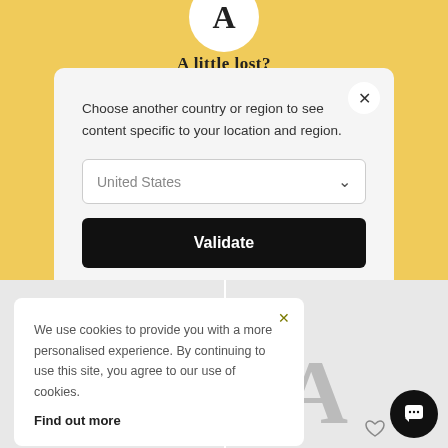[Figure (screenshot): Partial logo circle with letter A at top of yellow background]
A little lost?
Choose another country or region to see content specific to your location and region.
United States
Validate
We use cookies to provide you with a more personalised experience. By continuing to use this site, you agree to our use of cookies.
Find out more